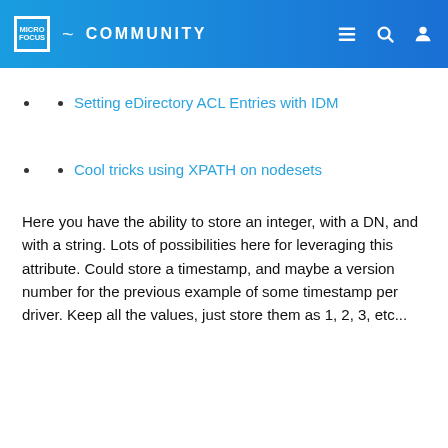Micro Focus Community
Setting eDirectory ACL Entries with IDM
Cool tricks using XPATH on nodesets
Here you have the ability to store an integer, with a DN, and with a string. Lots of possibilities here for leveraging this attribute. Could store a timestamp, and maybe a version number for the previous example of some timestamp per driver. Keep all the values, just store them as 1, 2, 3, etc...